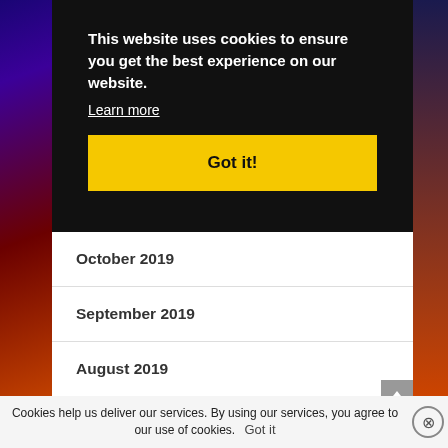This website uses cookies to ensure you get the best experience on our website.
Learn more
Got it!
October 2019
September 2019
August 2019
July 2019
Cookies help us deliver our services. By using our services, you agree to our use of cookies.  Got it